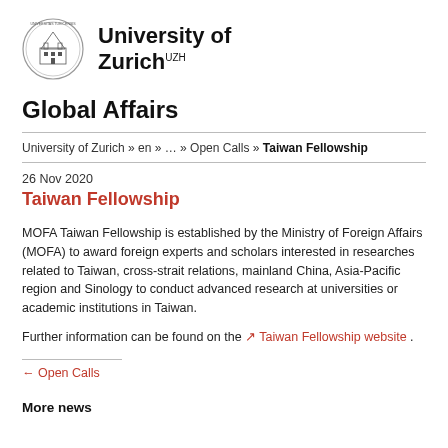University of Zurich UZH
Global Affairs
University of Zurich » en » … » Open Calls » Taiwan Fellowship
26 Nov 2020
Taiwan Fellowship
MOFA Taiwan Fellowship is established by the Ministry of Foreign Affairs (MOFA) to award foreign experts and scholars interested in researches related to Taiwan, cross-strait relations, mainland China, Asia-Pacific region and Sinology to conduct advanced research at universities or academic institutions in Taiwan.
Further information can be found on the ↗ Taiwan Fellowship website .
← Open Calls
More news